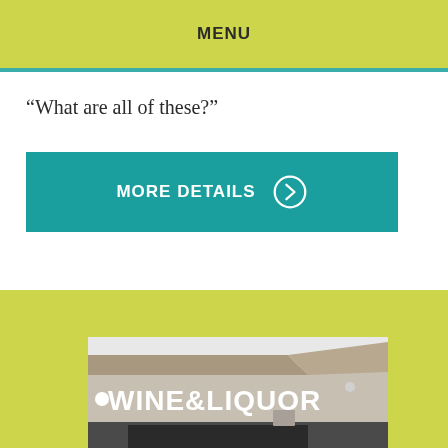MENU
“What are all of these?”
[Figure (other): Teal button with text MORE DETAILS and a right-arrow circle icon]
[Figure (photo): Exterior photo of a Wine & Liquor store building with signage]